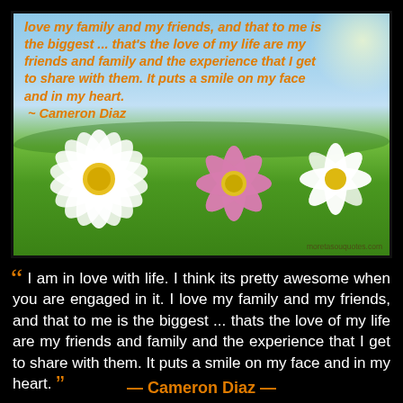[Figure (photo): Decorative nature scene with flowers (white and pink cosmos) against a blue sky and green field background, serving as backdrop for a quote image.]
love my family and my friends, and that to me is the biggest ... that's the love of my life are my friends and family and the experience that I get to share with them. It puts a smile on my face and in my heart.
 ~ Cameron Diaz
“ I am in love with life. I think its pretty awesome when you are engaged in it. I love my family and my friends, and that to me is the biggest ... thats the love of my life are my friends and family and the experience that I get to share with them. It puts a smile on my face and in my heart. ”
— Cameron Diaz —